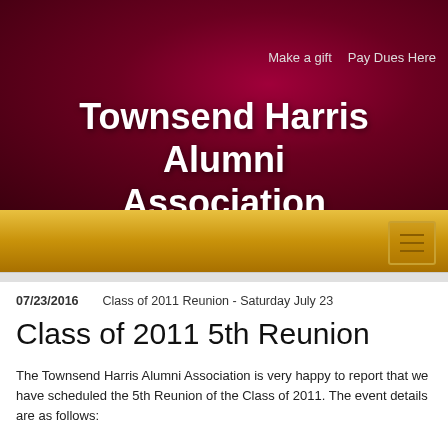[Figure (screenshot): Website header with dark maroon/crimson background showing navigation bar with Login button, Start a Profile, Forgot password? links, LinkedIn and Facebook social icons, Make a gift and Pay Dues Here links, and the Townsend Harris Alumni Association title in large bold white text. Below the header is a gold/yellow navigation bar with a hamburger menu icon on the right.]
07/23/2016    Class of 2011 Reunion - Saturday July 23
Class of 2011 5th Reunion
The Townsend Harris Alumni Association is very happy to report that we have scheduled the 5th Reunion of the Class of 2011. The event details are as follows: